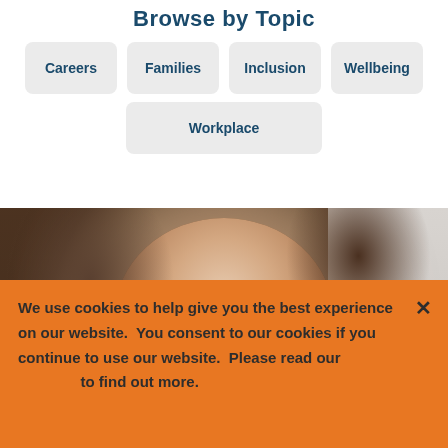Browse by Topic
Careers
Families
Inclusion
Wellbeing
Workplace
[Figure (photo): Close-up portrait photo of a woman with brown hair, smiling slightly, against a light background]
We use cookies to help give you the best experience on our website. You consent to our cookies if you continue to use our website. Please read our [cookie policy] to find out more.